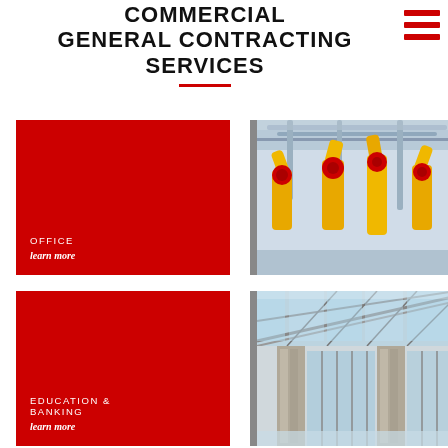COMMERCIAL GENERAL CONTRACTING SERVICES
[Figure (illustration): Red hamburger menu icon (three horizontal red bars) in top right corner]
[Figure (illustration): Red block with text OFFICE and learn more link]
[Figure (photo): Photo of industrial yellow robotic arms in a factory setting]
[Figure (illustration): Red block with text EDUCATION & BANKING and learn more link]
[Figure (photo): Photo of modern glass and steel building interior/exterior with glass ceiling and stone columns]